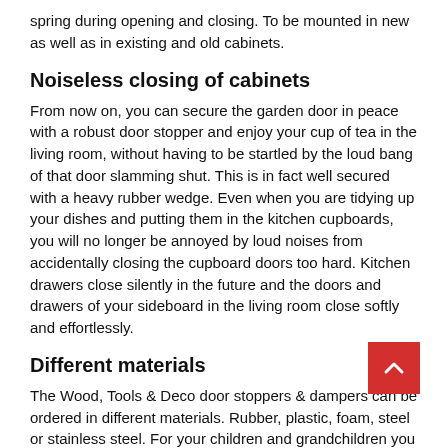spring during opening and closing. To be mounted in new as well as in existing and old cabinets.
Noiseless closing of cabinets
From now on, you can secure the garden door in peace with a robust door stopper and enjoy your cup of tea in the living room, without having to be startled by the loud bang of that door slamming shut. This is in fact well secured with a heavy rubber wedge. Even when you are tidying up your dishes and putting them in the kitchen cupboards, you will no longer be annoyed by loud noises from accidentally closing the cupboard doors too hard. Kitchen drawers close silently in the future and the doors and drawers of your sideboard in the living room close softly and effortlessly.
Different materials
The Wood, Tools & Deco door stoppers & dampers can be ordered in different materials. Rubber, plastic, foam, steel or stainless steel. For your children and grandchildren you can order special foam children's door stoppers online. They prevent small children from hurting their delicate fingers when the door closes. The door cannot close completely because it is stopped by the foam door stopper. The door stopper is available in many colors and is easy to clamp on the side of the door. We offer door dampers that can be glued or screwed,